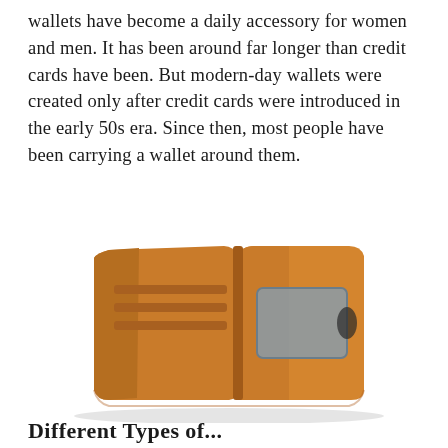wallets have become a daily accessory for women and men. It has been around far longer than credit cards have been. But modern-day wallets were created only after credit cards were introduced in the early 50s era. Since then, most people have been carrying a wallet around them.
[Figure (photo): An open tan/brown leather bifold wallet showing card slots on the left side and a clear ID window on the right side, photographed on a white background.]
Different Types of...